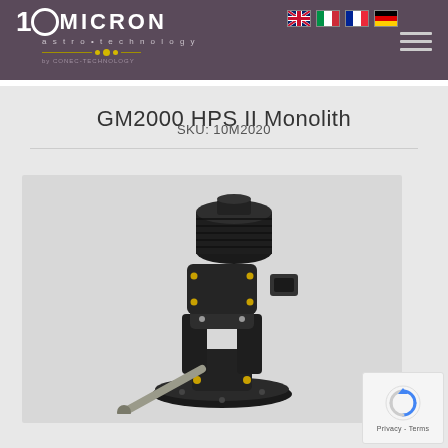10 MICRON astro•technology by CONEC-TECHNOLOGY
GM2000 HPS II Monolith
SKU: 10M2020
[Figure (photo): GM2000 HPS II Monolith equatorial telescope mount — black precision mount with yellow accent screws, featuring a large cylindrical polar axis housing at top and a silver polar alignment rod extending to the lower left, mounted on a circular base plate.]